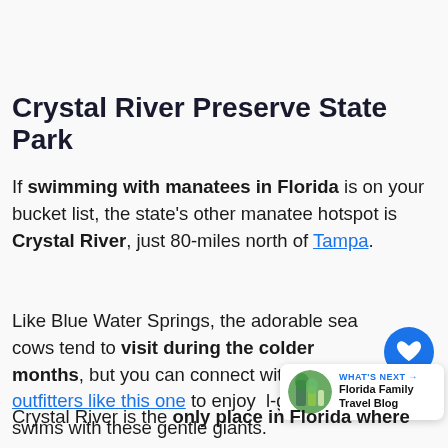Crystal River Preserve State Park
If swimming with manatees in Florida is on your bucket list, the state's other manatee hotspot is Crystal River, just 80-miles north of Tampa.
Like Blue Water Springs, the adorable sea cows tend to visit during the colder months, but you can connect with local outfitters like this one to enjoy l- group swims with these gentle giants.
[Figure (other): Floating heart/like button (blue circle with white heart icon) and share button overlay]
[Figure (other): What's Next widget showing a circular photo of tropical foliage and text: WHAT'S NEXT → Florida Family Travel Blog]
Crystal River is the only place in Florida where